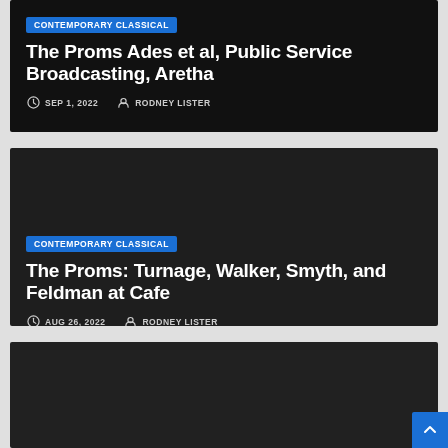CONTEMPORARY CLASSICAL
The Proms Ades et al, Public Service Broadcasting, Aretha
SEP 1, 2022   RODNEY LISTER
CONTEMPORARY CLASSICAL
The Proms: Turnage, Walker, Smyth, and Feldman at Cafe
AUG 26, 2022   RODNEY LISTER